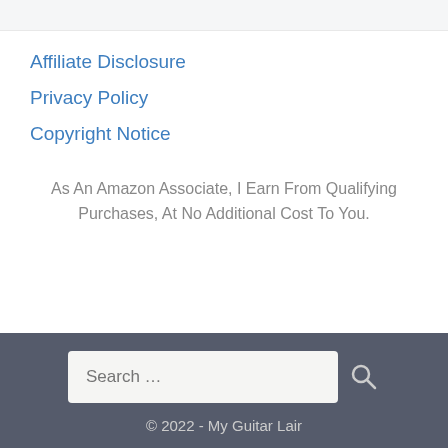Affiliate Disclosure
Privacy Policy
Copyright Notice
As An Amazon Associate, I Earn From Qualifying Purchases, At No Additional Cost To You.
© 2022 - My Guitar Lair